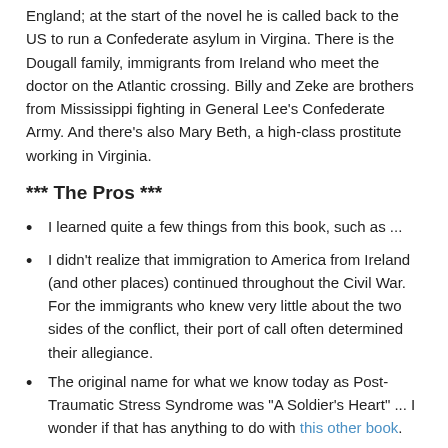England; at the start of the novel he is called back to the US to run a Confederate asylum in Virgina. There is the Dougall family, immigrants from Ireland who meet the doctor on the Atlantic crossing. Billy and Zeke are brothers from Mississippi fighting in General Lee's Confederate Army. And there's also Mary Beth, a high-class prostitute working in Virginia.
*** The Pros ***
I learned quite a few things from this book, such as ...
I didn't realize that immigration to America from Ireland (and other places) continued throughout the Civil War. For the immigrants who knew very little about the two sides of the conflict, their port of call often determined their allegiance.
The original name for what we know today as Post-Traumatic Stress Syndrome was "A Soldier's Heart" ... I wonder if that has anything to do with this other book.